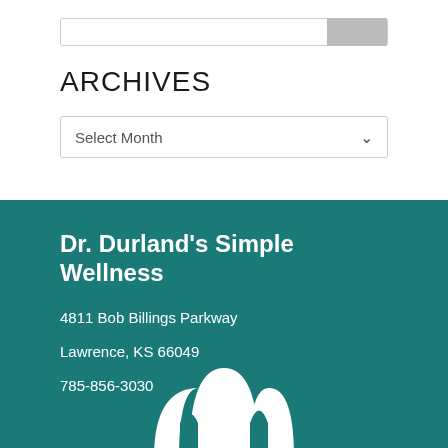ARCHIVES
Select Month
Dr. Durland's Simple Wellness
4811 Bob Billings Parkway
Lawrence, KS  66049
785-856-3030
[Figure (logo): Dr. Durland's Simple Wellness logo — white circular/arch design at bottom of teal footer]